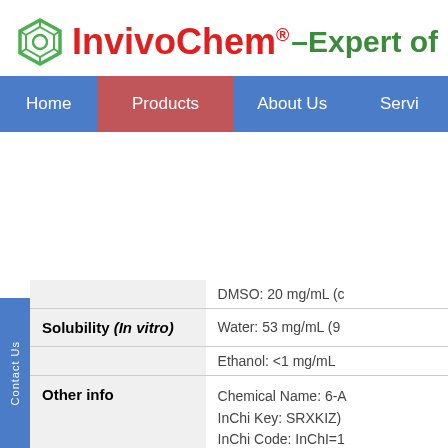InvivoChem® – Expert of Bio
[Figure (logo): InvivoChem hexagon logo icon in green]
Home | Products | About Us | Servi
| Field | Value |
| --- | --- |
|  | DMSO: 20 mg/mL (c |
| Solubility (In vitro) | Water: 53 mg/mL (9 |
|  | Ethanol: <1 mg/mL |
| Other info | Chemical Name: 6-A
InChi Key: SRXKIZ)
InChi Code: InChI=1
(H3,20,21)(H4,22,23
SMILES Code: CS(= |
| Synonyms | FUT175; Nafamosta |